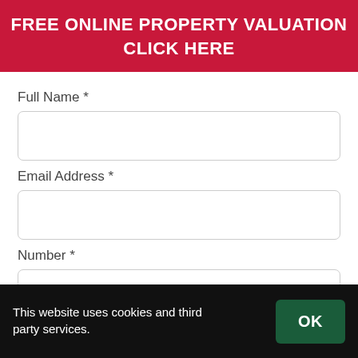FREE ONLINE PROPERTY VALUATION CLICK HERE
Full Name *
[Figure (other): Empty text input field for Full Name]
Email Address *
[Figure (other): Empty text input field for Email Address]
Number *
[Figure (other): Empty text input field for Number]
Message *
[Figure (other): Partially visible empty text input field for Message]
This website uses cookies and third party services.